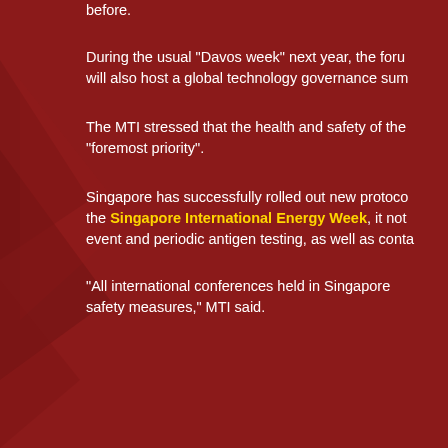before.
During the usual "Davos week" next year, the forum will also host a global technology governance sum…
The MTI stressed that the health and safety of the… "foremost priority".
Singapore has successfully rolled out new proto… the Singapore International Energy Week, it not… event and periodic antigen testing, as well as conta…
"All international conferences held in Singapore… safety measures," MTI said.